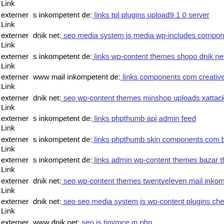externer Link  s inkompetent de: links tpl plugins upload9 1 0 server
externer Link  dnik net: seo media system js media wp-includes components
externer Link  s inkompetent de: links wp-content themes shopo dnik net
externer Link  www mail inkompetent de: links components com creatived
externer Link  dnik net: seo wp-content themes minshop uploads xattacker
externer Link  s inkompetent de: links phpthumb api admin feed
externer Link  s inkompetent de: links phpthumb skin components com b2
externer Link  s inkompetent de: links admin wp-content themes bazar the
externer Link  dnik net: seo wp-content themes twentyeleven mail inkomp
externer Link  dnik net: seo seo media system js wp-content plugins cherry
externer Link  www dnik net: seo js tinymce m php